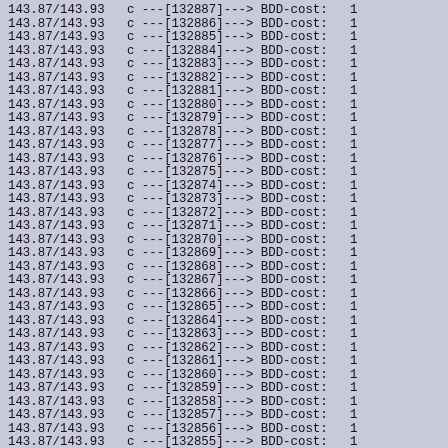143.87/143.93   c ---[132887]---> BDD-cost:   1
143.87/143.93   c ---[132886]---> BDD-cost:   1
143.87/143.93   c ---[132885]---> BDD-cost:   1
143.87/143.93   c ---[132884]---> BDD-cost:   1
143.87/143.93   c ---[132883]---> BDD-cost:   1
143.87/143.93   c ---[132882]---> BDD-cost:   1
143.87/143.93   c ---[132881]---> BDD-cost:   1
143.87/143.93   c ---[132880]---> BDD-cost:   1
143.87/143.93   c ---[132879]---> BDD-cost:   1
143.87/143.93   c ---[132878]---> BDD-cost:   1
143.87/143.93   c ---[132877]---> BDD-cost:   1
143.87/143.93   c ---[132876]---> BDD-cost:   1
143.87/143.93   c ---[132875]---> BDD-cost:   1
143.87/143.93   c ---[132874]---> BDD-cost:   1
143.87/143.93   c ---[132873]---> BDD-cost:   1
143.87/143.93   c ---[132872]---> BDD-cost:   1
143.87/143.93   c ---[132871]---> BDD-cost:   1
143.87/143.93   c ---[132870]---> BDD-cost:   1
143.87/143.93   c ---[132869]---> BDD-cost:   1
143.87/143.93   c ---[132868]---> BDD-cost:   1
143.87/143.93   c ---[132867]---> BDD-cost:   1
143.87/143.93   c ---[132866]---> BDD-cost:   1
143.87/143.93   c ---[132865]---> BDD-cost:   1
143.87/143.93   c ---[132864]---> BDD-cost:   1
143.87/143.93   c ---[132863]---> BDD-cost:   1
143.87/143.93   c ---[132862]---> BDD-cost:   1
143.87/143.93   c ---[132861]---> BDD-cost:   1
143.87/143.93   c ---[132860]---> BDD-cost:   1
143.87/143.93   c ---[132859]---> BDD-cost:   1
143.87/143.93   c ---[132858]---> BDD-cost:   1
143.87/143.93   c ---[132857]---> BDD-cost:   1
143.87/143.93   c ---[132856]---> BDD-cost:   1
143.87/143.93   c ---[132855]---> BDD-cost:   1